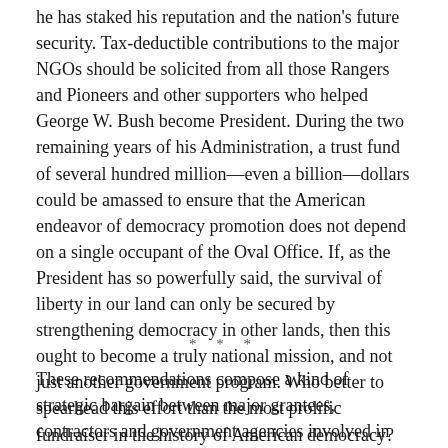he has staked his reputation and the nation's future security. Tax-deductible contributions to the major NGOs should be solicited from all those Rangers and Pioneers and other supporters who helped George W. Bush become President. During the two remaining years of his Administration, a trust fund of several hundred million—even a billion—dollars could be amassed to ensure that the American endeavor of democracy promotion does not depend on a single occupant of the Oval Office. If, as the President has so powerfully said, the survival of liberty in our land can only be secured by strengthening democracy in other lands, then this ought to become a truly national mission, and not just another government program. Who better to spearhead this effort than the most prolific fundraiser in the history of American democracy?
* * *
These recommendations compose a kind of strategic bargain between major grantees, contractors and government agencies involved in the democracy promotion enterprise. In return for a lower overall level